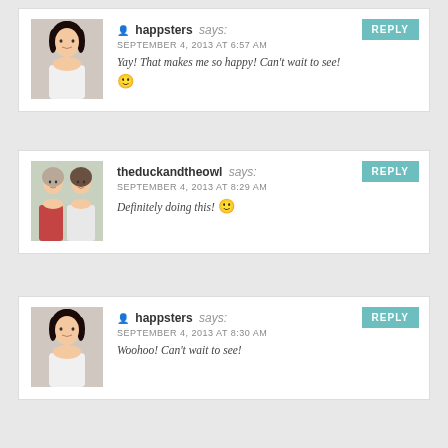happsters says: SEPTEMBER 4, 2013 AT 6:57 AM — Yay! That makes me so happy! Can't wait to see! 🙂
theduckandtheowl says: SEPTEMBER 4, 2013 AT 8:29 AM — Definitely doing this! 🙂
happsters says: SEPTEMBER 4, 2013 AT 8:30 AM — Woohoo! Can't wait to see!